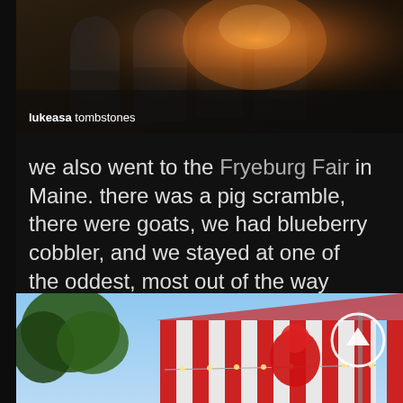[Figure (photo): Top photo showing tombstones with warm orange light flare in a graveyard setting]
lukeasa tombstones
we also went to the Fryeburg Fair in Maine. there was a pig scramble, there were goats, we had blueberry cobbler, and we stayed at one of the oddest, most out of the way hotels I've been to.
[Figure (photo): Bottom photo showing a red and white striped fair tent with red inflatable figure and string lights, blue sky and trees visible]